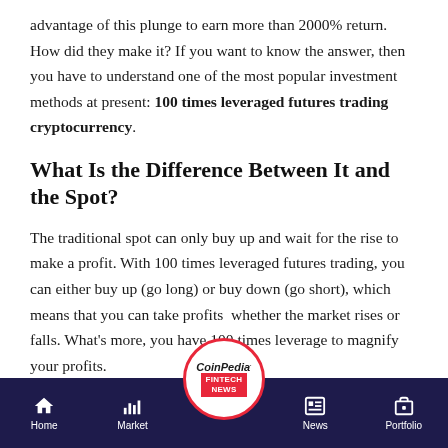advantage of this plunge to earn more than 2000% return. How did they make it? If you want to know the answer, then you have to understand one of the most popular investment methods at present: 100 times leveraged futures trading cryptocurrency.
What Is the Difference Between It and the Spot?
The traditional spot can only buy up and wait for the rise to make a profit. With 100 times leveraged futures trading, you can either buy up (go long) or buy down (go short), which means that you can take profits  whether the market rises or falls. What's more, you have 100 times leverage to magnify your profits.
CoinPedia FINTECH NEWS | Home | Market | News | Portfolio